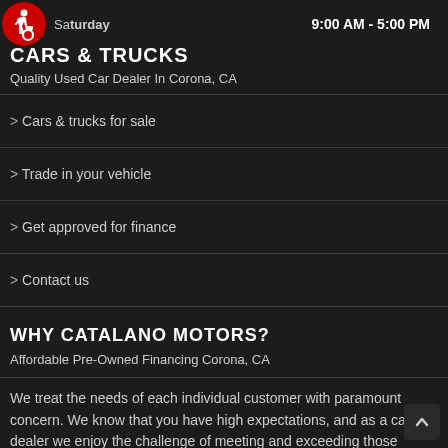Saturday  9:00 AM - 5:00 PM
CARS & TRUCKS
Quality Used Car Dealer In Corona, CA
> Cars & trucks for sale
> Trade in your vehicle
> Get approved for finance
> Contact us
WHY CATALANO MOTORS?
Affordable Pre-Owned Financing Corona, CA
We treat the needs of each individual customer with paramount concern. We know that you have high expectations, and as a car dealer we enjoy the challenge of meeting and exceeding those standards each and every time. Allow us to demonstrate our